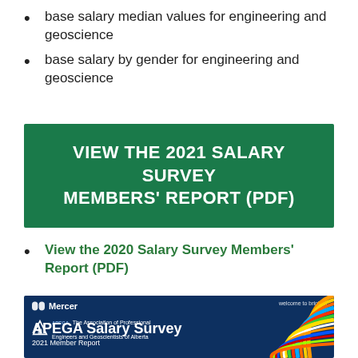base salary median values for engineering and geoscience
base salary by gender for engineering and geoscience
[Figure (other): Green banner button: VIEW THE 2021 SALARY SURVEY MEMBERS' REPORT (PDF)]
View the 2020 Salary Survey Members' Report (PDF)
[Figure (other): APEGA Salary Survey 2021 Member Report cover image with Mercer and APEGA logos on dark blue background with colorful cables on the right side]